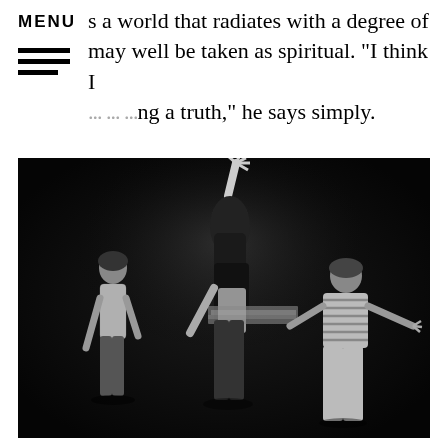MENU
s a world that radiates with a degree of may well be taken as spiritual. "I think I ... ... ...ng a truth," he says simply.
[Figure (photo): Black and white performance photo of three dancers on a dark stage. One dancer on the left stands with arms relaxed, wearing mesh top and pants. In the center, a dancer with long dark hair reaches one arm upward dramatically. On the right, another dancer leans forward with arms extended. The central figure appears to have a motion-blur or glitch effect across their torso.]